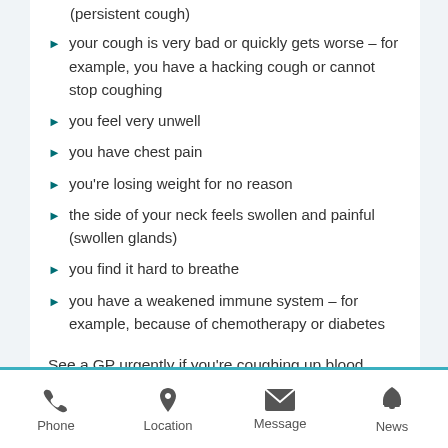(persistent cough)
your cough is very bad or quickly gets worse – for example, you have a hacking cough or cannot stop coughing
you feel very unwell
you have chest pain
you're losing weight for no reason
the side of your neck feels swollen and painful (swollen glands)
you find it hard to breathe
you have a weakened immune system – for example, because of chemotherapy or diabetes
See a GP urgently if you're coughing up blood.
To find out what's causing your cough, the GP might:
Phone  Location  Message  News